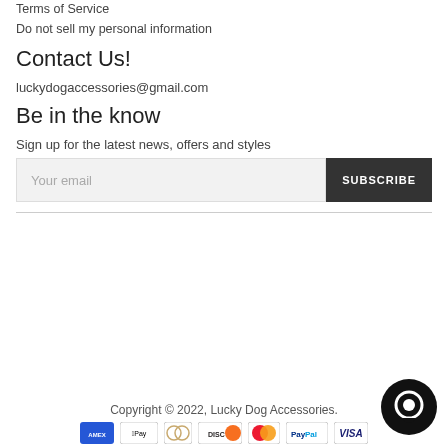Terms of Service
Do not sell my personal information
Contact Us!
luckydogaccessories@gmail.com
Be in the know
Sign up for the latest news, offers and styles
Your email | SUBSCRIBE
Copyright © 2022, Lucky Dog Accessories.
[Figure (other): Payment method icons: American Express, Apple Pay, Diners Club, Discover, Mastercard, PayPal, Visa]
[Figure (other): Chat bubble / support widget icon]